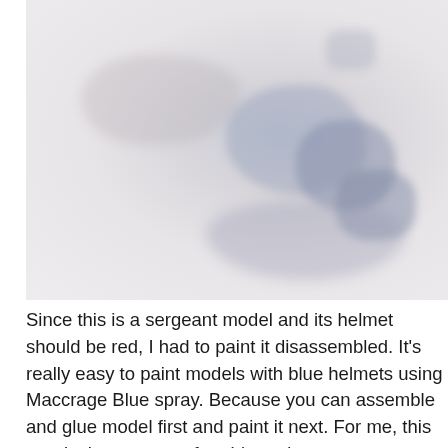[Figure (photo): A faded, washed-out photograph of what appears to be a small model figure (miniature) disassembled or in parts, with very light, almost white background making details hard to discern.]
Since this is a sergeant model and its helmet should be red, I had to paint it disassembled. It's really easy to paint models with blue helmets using Maccrage Blue spray. Because you can assemble and glue model first and paint it next. For me, this way is the most comfortable and easy.